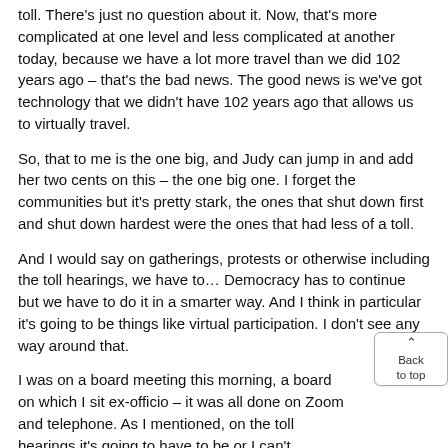toll. There's just no question about it. Now, that's more complicated at one level and less complicated at another today, because we have a lot more travel than we did 102 years ago – that's the bad news. The good news is we've got technology that we didn't have 102 years ago that allows us to virtually travel.
So, that to me is the one big, and Judy can jump in and add her two cents on this – the one big one. I forget the communities but it's pretty stark, the ones that shut down first and shut down hardest were the ones that had less of a toll.
And I would say on gatherings, protests or otherwise including the toll hearings, we have to… Democracy has to continue but we have to do it in a smarter way. And I think in particular it's going to be things like virtual participation. I don't see any way around that.
I was on a board meeting this morning, a board on which I sit ex-officio – it was all done on Zoom and telephone. As I mentioned, on the toll hearings it's going to have to be or I can't condone them, unless they're done virtually, on the telephone. There's an 1-800 number for somebody to call there's an extended comment period but we cannot be gathering right now.
And the most tragic, for obvious reasons but the one that